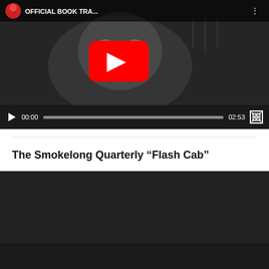[Figure (screenshot): YouTube video player showing 'OFFICIAL BOOK TRA...' with a black-and-white thumbnail of a woman's face and a YouTube play button. Controls show 00:00 / 02:53.]
The Smokelong Quarterly “Flash Cab”
[Figure (screenshot): Second video player with dark/black background, no visible content.]